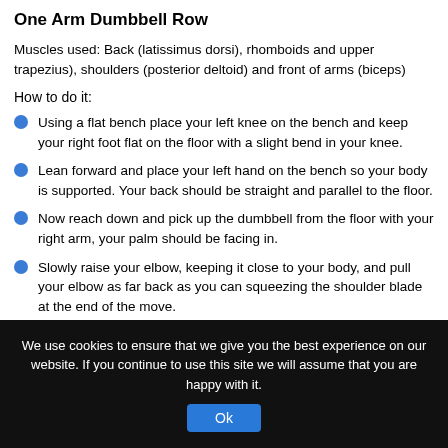One Arm Dumbbell Row
Muscles used: Back (latissimus dorsi), rhomboids and upper trapezius), shoulders (posterior deltoid) and front of arms (biceps)
How to do it:
Using a flat bench place your left knee on the bench and keep your right foot flat on the floor with a slight bend in your knee.
Lean forward and place your left hand on the bench so your body is supported. Your back should be straight and parallel to the floor.
Now reach down and pick up the dumbbell from the floor with your right arm, your palm should be facing in.
Slowly raise your elbow, keeping it close to your body, and pull your elbow as far back as you can squeezing the shoulder blade at the end of the move.
Lower the dumbbell back to the floor and swap sides and repeat with the other…
We use cookies to ensure that we give you the best experience on our website. If you continue to use this site we will assume that you are happy with it.